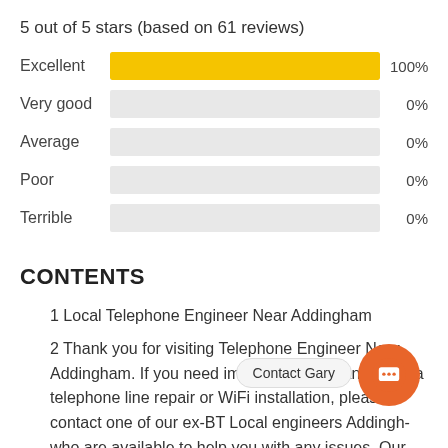5 out of 5 stars (based on 61 reviews)
[Figure (bar-chart): Rating breakdown]
CONTENTS
1 Local Telephone Engineer Near Addingham
2 Thank you for visiting Telephone Engineer Near Addingham. If you need immediate assistance with a telephone line repair or WiFi installation, please contact one of our ex-BT Local engineers Addingham who are available to help you with any issues. Our ex-BT